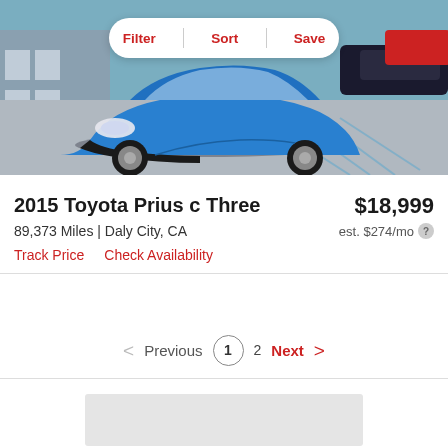[Figure (photo): Blue Toyota Prius c parked in a parking lot at a dealership, front/side view, with other cars visible in the background]
Filter | Sort | Save
2015 Toyota Prius c Three
$18,999
89,373 Miles | Daly City, CA
est. $274/mo
Track Price   Check Availability
Previous  1  2  Next